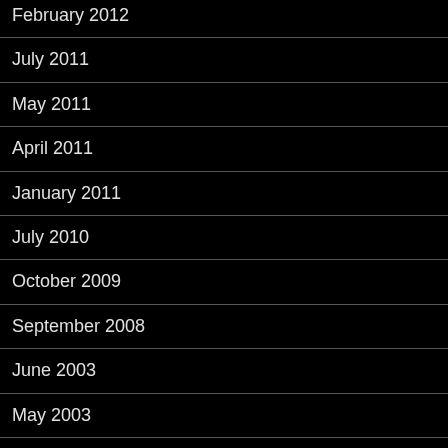February 2012
July 2011
May 2011
April 2011
January 2011
July 2010
October 2009
September 2008
June 2003
May 2003
April 2003
March 2003
January 2003